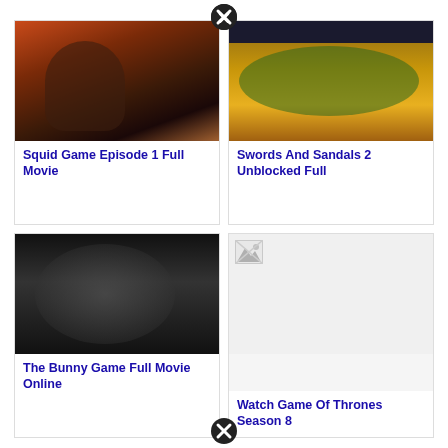[Figure (photo): Squid Game scene - man with orange/red dramatic background]
Squid Game Episode 1 Full Movie
[Figure (screenshot): Swords and Sandals 2 game screenshot with fighting characters]
Swords And Sandals 2 Unblocked Full
[Figure (photo): Black and white dramatic photo - The Bunny Game]
The Bunny Game Full Movie Online
[Figure (photo): Broken/missing image placeholder - Watch Game Of Thrones Season 8]
Watch Game Of Thrones Season 8